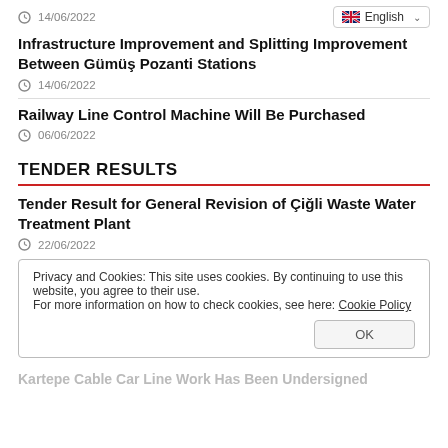14/06/2022
Infrastructure Improvement and Splitting Improvement Between Gümüş Pozanti Stations
14/06/2022
Railway Line Control Machine Will Be Purchased
06/06/2022
TENDER RESULTS
Tender Result for General Revision of Çiğli Waste Water Treatment Plant
22/06/2022
Privacy and Cookies: This site uses cookies. By continuing to use this website, you agree to their use.
For more information on how to check cookies, see here: Cookie Policy
OK
Kartepe Cable Car Line Work Has Been Undersigned